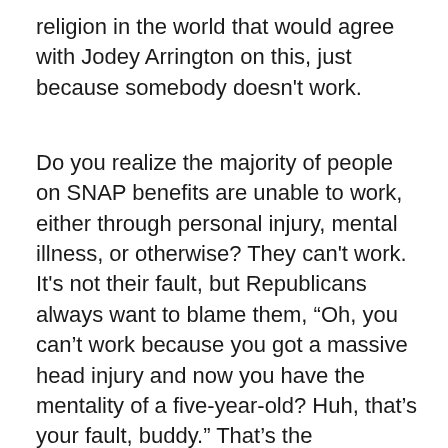religion in the world that would agree with Jodey Arrington on this, just because somebody doesn't work.
Do you realize the majority of people on SNAP benefits are unable to work, either through personal injury, mental illness, or otherwise? They can't work. It's not their fault, but Republicans always want to blame them, “Oh, you can’t work because you got a massive head injury and now you have the mentality of a five-year-old? Huh, that’s your fault, buddy.” That’s the Republican way of thinking. That’s the conservative Christian way of thinking. The only lives they care about are the ones that haven’t been born yet. Once you pop out of a woman’s uterus, hey, you’re on your own. You